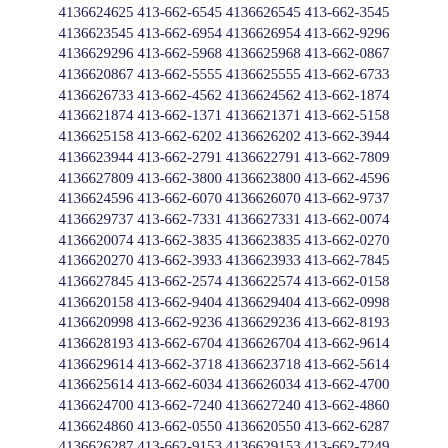4136624625 413-662-6545 4136626545 413-662-3545 4136623545 413-662-6954 4136626954 413-662-9296 4136629296 413-662-5968 4136625968 413-662-0867 4136620867 413-662-5555 4136625555 413-662-6733 4136626733 413-662-4562 4136624562 413-662-1874 4136621874 413-662-1371 4136621371 413-662-5158 4136625158 413-662-6202 4136626202 413-662-3944 4136623944 413-662-2791 4136622791 413-662-7809 4136627809 413-662-3800 4136623800 413-662-4596 4136624596 413-662-6070 4136626070 413-662-9737 4136629737 413-662-7331 4136627331 413-662-0074 4136620074 413-662-3835 4136623835 413-662-0270 4136620270 413-662-3933 4136623933 413-662-7845 4136627845 413-662-2574 4136622574 413-662-0158 4136620158 413-662-9404 4136629404 413-662-0998 4136620998 413-662-9236 4136629236 413-662-8193 4136628193 413-662-6704 4136626704 413-662-9614 4136629614 413-662-3718 4136623718 413-662-5614 4136625614 413-662-6034 4136626034 413-662-4700 4136624700 413-662-7240 4136627240 413-662-4860 4136624860 413-662-0550 4136620550 413-662-6287 4136626287 413-662-9153 4136629153 413-662-7249 4136627249 413-662-3515 4136623515 413-662-8428 4136628428 413-662-5133 4136625133 413-662-2625 4136622625 413-662-5594 4136625594 413-662-7427 4136627427 413-662-8165 4136628165 413-662-3550